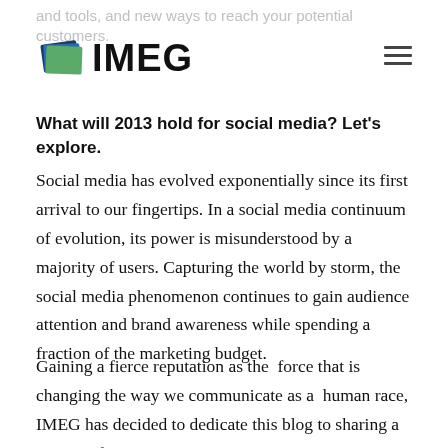and tools, and new ways to reach your potential customers.
[Figure (logo): IMEG logo with blue/green layered book icon and bold black IMEG text]
What will 2013 hold for social media? Let's explore.
Social media has evolved exponentially since its first arrival to our fingertips. In a social media continuum of evolution, its power is misunderstood by a majority of users. Capturing the world by storm, the social media phenomenon continues to gain audience attention and brand awareness while spending a fraction of the marketing budget.
Gaining a fierce reputation as the  force that is changing the way we communicate as a  human race, IMEG has decided to dedicate this blog to sharing a variety of